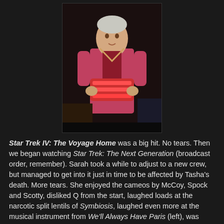[Figure (photo): A person wearing a pink/red costume holding a musical instrument, from what appears to be a Star Trek episode scene]
Star Trek IV: The Voyage Home was a big hit. No tears. Then we began watching Star Trek: The Next Generation (broadcast order, remember). Sarah took a while to adjust to a new crew, but managed to get into it just in time to be affected by Tasha's death. More tears. She enjoyed the cameos by McCoy, Spock and Scotty, disliked Q from the start, laughed loads at the narcotic split lentils of Symbiosis, laughed even more at the musical instrument from We'll Always Have Paris (left), was Lwaxana Troi's biggest fan, mocked Riker's beard, mocked Riker, enjoyed anything to do with Guinan, cried tears a plenty when Sarek died, loved Alexander Rozhenko's dungarees, Spot, Gowron's starey eyes, and was impressed by the likes of The Measure Of A Man, Yesterday's Enterprise, Captain's Holiday, The